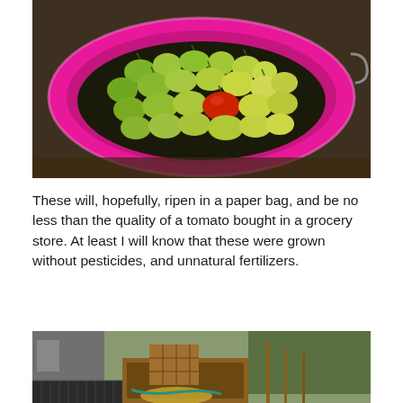[Figure (photo): A pink/magenta bowl filled with many small green and yellow-green tomatoes, with one ripe red tomato in the center. Top-down view of the bowl.]
These will, hopefully, ripen in a paper bag, and be no less than the quality of a tomato bought in a grocery store. At least I will know that these were grown without pesticides, and unnatural fertilizers.
[Figure (photo): A garden scene showing wooden structures, raised garden beds, wire fencing, and trees in the background. Various garden tools and materials are visible.]